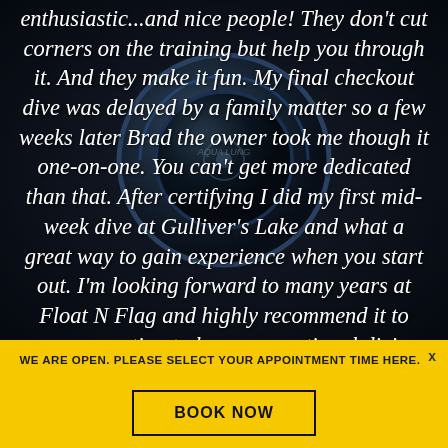[Figure (photo): Dark background photo of scuba diving equipment (Aqua Lung regulator/gear) with a diver partially visible]
enthusiastic...and nice people! They don't cut corners on the training but help you through it. And they make it fun. My final checkout dive was delayed by a family matter so a few weeks later Brad the owner took me though it one-on-one. You can't get more dedicated than that. After certifying I did my first mid-week dive at Gulliver's Lake and what a great way to gain experience when you start out. I'm looking forward to many years at Float N Flag and highly recommend it to anyone wanting to learn recreational diving.
WE ARE OPEN. PLEASE SELECT YOUR APPOINTMENT TIME HERE.
BOOK NOW